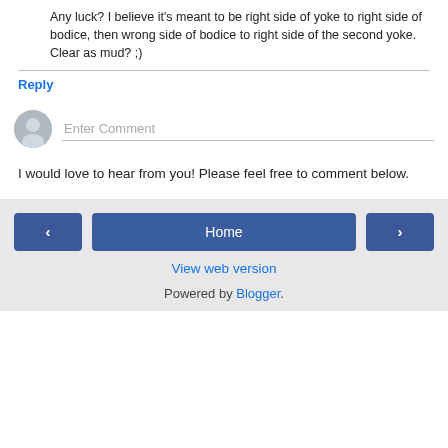Any luck? I believe it's meant to be right side of yoke to right side of bodice, then wrong side of bodice to right side of the second yoke. Clear as mud? ;)
Reply
[Figure (illustration): User avatar placeholder - grey circle with person silhouette icon]
Enter Comment
I would love to hear from you! Please feel free to comment below.
< Home > View web version Powered by Blogger.